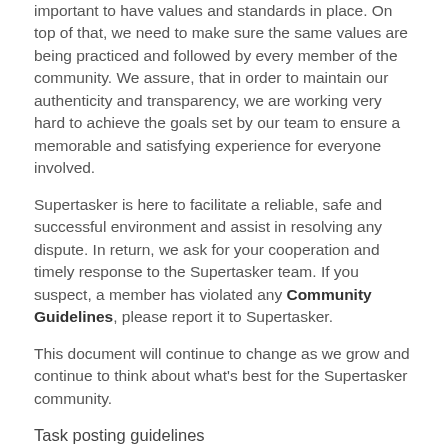important to have values and standards in place. On top of that, we need to make sure the same values are being practiced and followed by every member of the community. We assure, that in order to maintain our authenticity and transparency, we are working very hard to achieve the goals set by our team to ensure a memorable and satisfying experience for everyone involved.
Supertasker is here to facilitate a reliable, safe and successful environment and assist in resolving any dispute. In return, we ask for your cooperation and timely response to the Supertasker team. If you suspect, a member has violated any Community Guidelines, please report it to Supertasker.
This document will continue to change as we grow and continue to think about what's best for the Supertasker community.
Task posting guidelines
The Supertasker platform helps you to get anything done. To create a safe, respectful and rewarding environment, we need you to follow the Guidelines below: